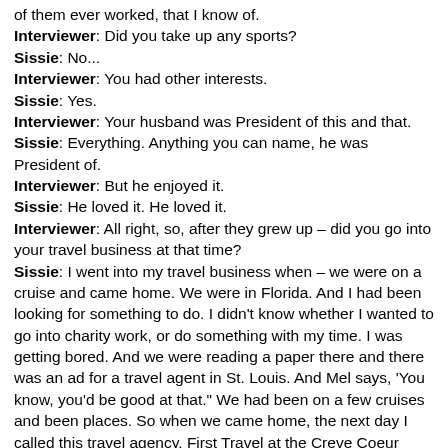of them ever worked, that I know of.
Interviewer: Did you take up any sports?
Sissie: No...
Interviewer: You had other interests.
Sissie: Yes.
Interviewer: Your husband was President of this and that.
Sissie: Everything. Anything you can name, he was President of.
Interviewer: But he enjoyed it.
Sissie: He loved it. He loved it.
Interviewer: All right, so, after they grew up – did you go into your travel business at that time?
Sissie: I went into my travel business when – we were on a cruise and came home. We were in Florida. And I had been looking for something to do. I didn't know whether I wanted to go into charity work, or do something with my time. I was getting bored. And we were reading a paper there and there was an ad for a travel agent in St. Louis. And Mel says, 'You know, you'd be good at that." We had been on a few cruises and been places. So when we came home, the next day I called this travel agency. First Travel at the Creve Coeur Bank. And I had an appointment with him that day, and he hired me immediately. Be...and I don't know but Mel...